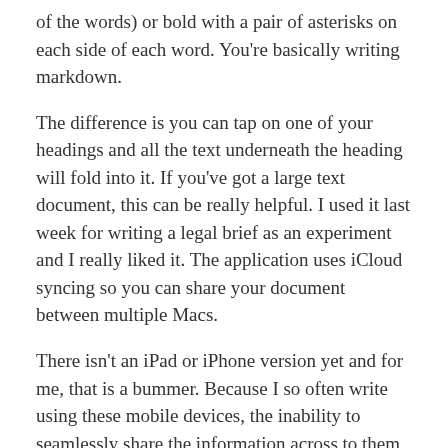of the words) or bold with a pair of asterisks on each side of each word. You're basically writing markdown.
The difference is you can tap on one of your headings and all the text underneath the heading will fold into it. If you've got a large text document, this can be really helpful. I used it last week for writing a legal brief as an experiment and I really liked it. The application uses iCloud syncing so you can share your document between multiple Macs.
There isn't an iPad or iPhone version yet and for me, that is a bummer. Because I so often write using these mobile devices, the inability to seamlessly share the information across to them will limit my usage. However, since Jesse Grosjean has already proven his ability to write outstanding iOS applications, I suspect this shortcoming is not a permanent one.